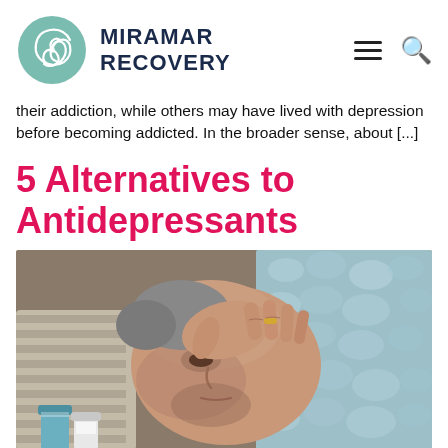MIRAMAR RECOVERY
their addiction, while others may have lived with depression before becoming addicted. In the broader sense, about [...]
5 Alternatives to Antidepressants
[Figure (photo): A middle-aged man lying down with hand on forehead, looking distressed, wrapped in a light blue fluffy blanket, with pill bottles visible in the foreground]